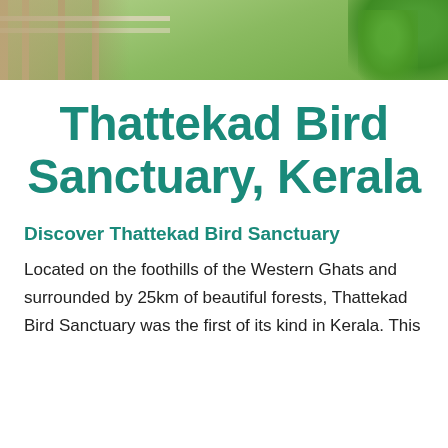[Figure (photo): Partial view of a wooden structure/walkway with green lawn and trees in background, Kerala nature setting]
Thattekad Bird Sanctuary, Kerala
Discover Thattekad Bird Sanctuary
Located on the foothills of the Western Ghats and surrounded by 25km of beautiful forests, Thattekad Bird Sanctuary was the first of its kind in Kerala. This